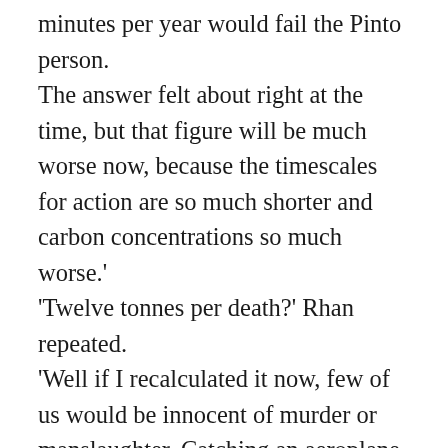minutes per year would fail the Pinto person. The answer felt about right at the time, but that figure will be much worse now, because the timescales for action are so much shorter and carbon concentrations so much worse.' 'Twelve tonnes per death?' Rhan repeated. 'Well if I recalculated it now, few of us would be innocent of murder or manslaughter. Catching an aeroplane, using coal, or – if you're an engineer, architect or developer – by choosing to use concrete or steel instead of a low-carbon timber alternative. It would all be considered criminal in a just world. I have heard that structural engineers have a carbon footprint of around a thousand tonnes each per year, which could easily be the case. I can save tens of